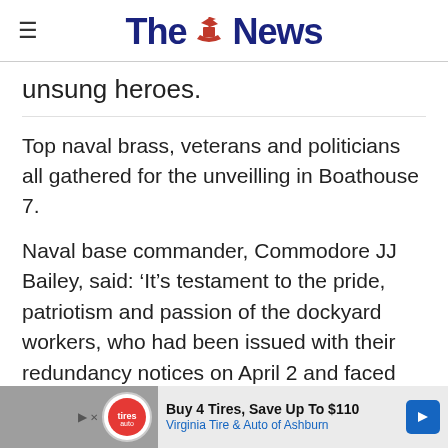The News
unsung heroes.
Top naval brass, veterans and politicians all gathered for the unveilling in Boathouse 7.
Naval base commander, Commodore JJ Bailey, said: ‘It’s testament to the pride, patriotism and passion of the dockyard workers, who had been issued with their redundancy notices on April 2 and faced the loss of their jobs, returned to their workplaces.
Buy 4 Tires, Save Up To $110 Virginia Tire & Auto of Ashburn